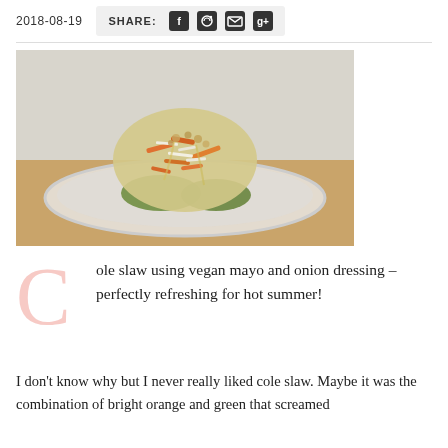2018-08-19   SHARE:
[Figure (photo): A bowl of coleslaw with shredded carrots, cabbage, and avocado, topped with crushed nuts, served in a glass bowl on a wooden surface.]
Cole slaw using vegan mayo and onion dressing – perfectly refreshing for hot summer!
I don't know why but I never really liked cole slaw. Maybe it was the combination of bright orange and green that screamed